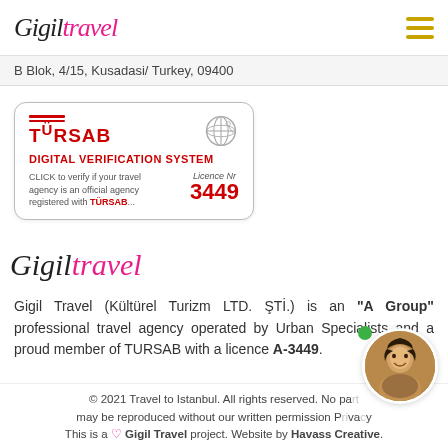Gigil Travel
B Blok, 4/15, Kusadasi/ Turkey, 09400
[Figure (other): TÜRSAB Digital Verification System badge. Shows TÜRSAB logo, a globe icon, text 'CLICK to verify if your travel agency is an official agency registered with TÜRSAB...' and Licence Nr 3449]
[Figure (logo): Gigil Travel logo in cursive script, with 'travel' part in pink]
Gigil Travel (Kültürel Turizm LTD. ŞTİ.) is an "A Group" professional travel agency operated by Urban Specialists and a proud member of TURSAB with a licence A-3449.
[Figure (photo): Circular avatar photo of a man smiling]
© 2021 Travel to Istanbul. All rights reserved. No part may be reproduced without our written permission. This is a ♥ Gigil Travel project. Website by Havass Creative.